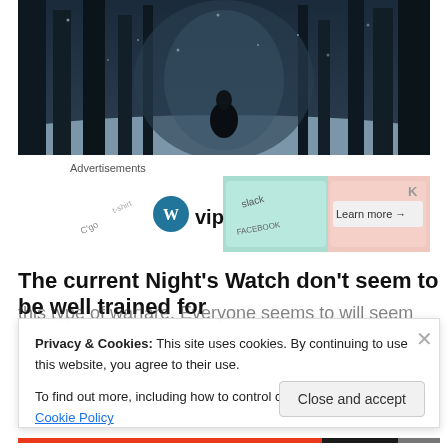[Figure (photo): Dark, moody forest scene with snow on the ground and a cloaked figure standing among tall dark tree trunks in winter]
Advertisements
[Figure (screenshot): WordPress VIP advertisement banner showing WordPress W logo with 'vip' text, social media brand stickers (slack, Facebook), and a 'Learn more →' button]
The current Night's Watch don't seem to be well trained for
Privacy & Cookies: This site uses cookies. By continuing to use this website, you agree to their use.
To find out more, including how to control cookies, see here: Cookie Policy
Close and accept